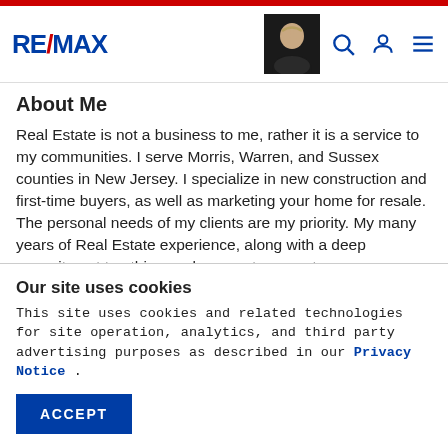RE/MAX
About Me
Real Estate is not a business to me, rather it is a service to my communities. I serve Morris, Warren, and Sussex counties in New Jersey. I specialize in new construction and first-time buyers, as well as marketing your home for resale. The personal needs of my clients are my priority. My many years of Real Estate experience, along with a deep commitment to ethics, make me a top agent as illustrated by the many it looks for my clients...
Our site uses cookies
This site uses cookies and related technologies for site operation, analytics, and third party advertising purposes as described in our Privacy Notice .
ACCEPT